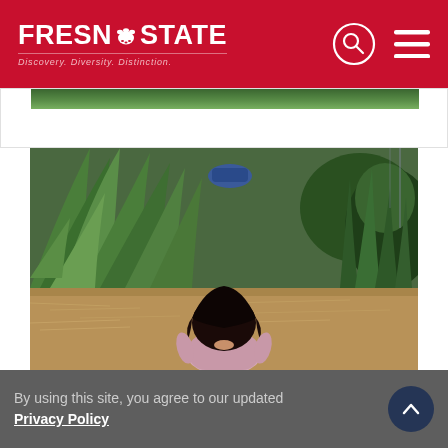FRESNO STATE - Discovery. Diversity. Distinction.
[Figure (photo): Outdoor garden scene with ornamental grasses, shrubs, dry mulch/hay ground cover, and a young child with dark hair seen from behind, wearing a light pink top. Background includes chain-link fence and dense green plantings.]
By using this site, you agree to our updated Privacy Policy